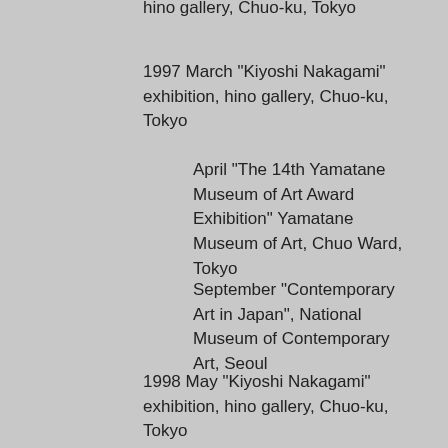hino gallery, Chuo-ku, Tokyo
1997 March "Kiyoshi Nakagami" exhibition, hino gallery, Chuo-ku, Tokyo
April "The 14th Yamatane Museum of Art Award Exhibition" Yamatane Museum of Art, Chuo Ward, Tokyo
September "Contemporary Art in Japan", National Museum of Contemporary Art, Seoul
1998 May "Kiyoshi Nakagami" exhibition, hino gallery, Chuo-ku, Tokyo
July: NHK General "Saturday Morning: Higher, Deeper
1999 March "Fumio Takamizawa, Kiyoshi Nakagami" Yokohama Portside Gallery, Yokohama